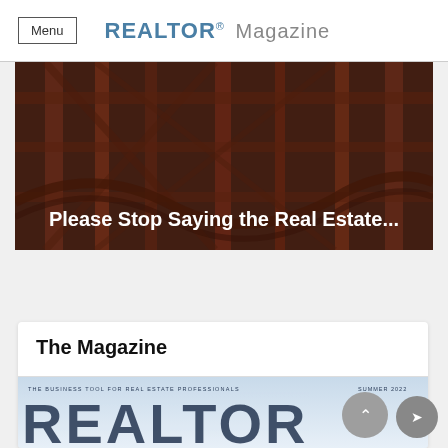Menu  REALTOR® Magazine
[Figure (photo): Hero image of a roller coaster structure with reddish-brown steel beams, overlaid with white bold text reading 'Please Stop Saying the Real Estate...']
Please Stop Saying the Real Estate...
The Magazine
[Figure (screenshot): Preview of the REALTOR Magazine cover showing 'THE BUSINESS TOOL FOR REAL ESTATE PROFESSIONALS' and 'SUMMER 2022' header text, with large 'REALTOR' text on a light blue background]